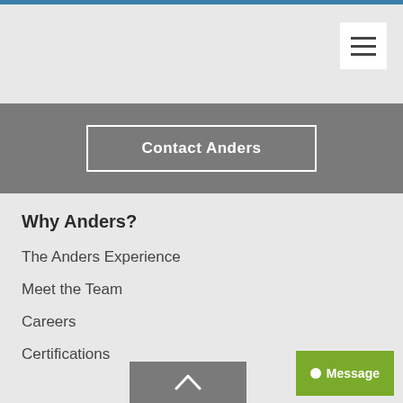[Figure (screenshot): Blue top navigation bar strip]
[Figure (screenshot): Hamburger menu button (three horizontal lines) in white box, top right]
Contact Anders
Why Anders?
The Anders Experience
Meet the Team
Careers
Certifications
[Figure (screenshot): Back to top button with upward chevron arrow, gray background]
[Figure (screenshot): Green Message button with chat bubble icon, bottom right]